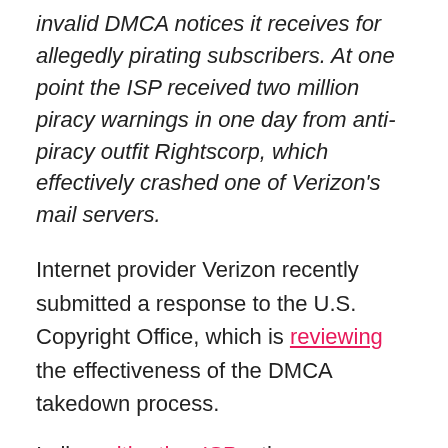invalid DMCA notices it receives for allegedly pirating subscribers. At one point the ISP received two million piracy warnings in one day from anti-piracy outfit Rightscorp, which effectively crashed one of Verizon's mail servers.
Internet provider Verizon recently submitted a response to the U.S. Copyright Office, which is reviewing the effectiveness of the DMCA takedown process.
In line with other ISPs, the group stresses that the DMCA doesn't require Internet providers to forward